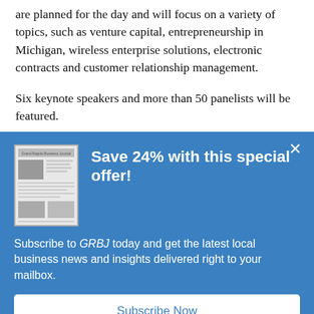are planned for the day and will focus on a variety of topics, such as venture capital, entrepreneurship in Michigan, wireless enterprise solutions, electronic contracts and customer relationship management.
Six keynote speakers and more than 50 panelists will be featured.
[Figure (screenshot): A modal popup advertisement for GRBJ subscription with blue background. Contains a newspaper thumbnail image, headline 'Save 24% with this special offer!', body text 'Subscribe to GRBJ today and get the latest local business news and insights delivered right to your mailbox.', a white 'Subscribe Now' button, and an X close button.]